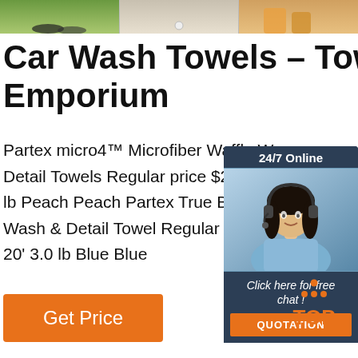[Figure (photo): Top banner with three photo segments: feet/shoes on grass, a small ball on a surface, and legs/orange shorts]
Car Wash Towels – Towel Emporium
Partex micro4™ Microfiber Waffle Weave Detail Towels Regular price $28.32 pack 1 lb Peach Peach Partex True Blue™ 100% Wash & Detail Towel Regular price $17.62 20' 3.0 lb Blue Blue
[Figure (photo): Chat widget showing 24/7 Online header, woman with headset photo, Click here for free chat text, and QUOTATION button]
Get Price
[Figure (logo): TOP logo with orange dots forming a triangle above the word TOP in orange]